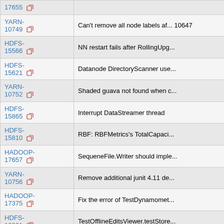| Issue | Description |
| --- | --- |
| 17655 |  |
| YARN-10749 | Can't remove all node labels after 10647 |
| HDFS-15566 | NN restart fails after RollingUpg... |
| HDFS-15621 | Datanode DirectoryScanner use... |
| YARN-10752 | Shaded guava not found when c... |
| HDFS-15865 | Interrupt DataStreamer thread |
| HDFS-15810 | RBF: RBFMetrics's TotalCapaci... |
| HADOOP-17657 | SequeneFile.Writer should imple... |
| YARN-10756 | Remove additional junit 4.11 de... |
| HADOOP-17375 | Fix the error of TestDynamomet... |
| HDFS-16001 | TestOfflineEditsViewer.testStore... |
| HADOOP-17142 | Fix outdated properties of journa... |
| HADOOP-17107 | hadoop-azure parallel tests not ... |
| YARN-10555 | Missing access check before ge... |
| HADOOP-17703 | checkcompatibility.py errors out... |